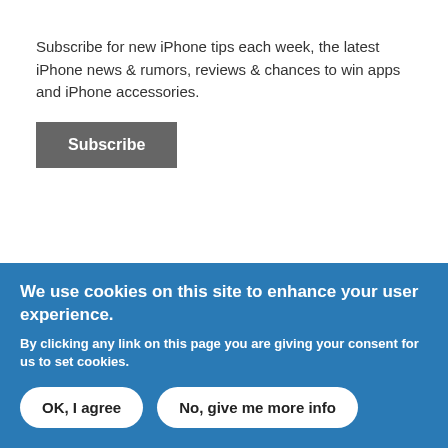Subscribe for new iPhone tips each week, the latest iPhone news & rumors, reviews & chances to win apps and iPhone accessories.
Subscribe
7:42am PERMALINK
After iTunes imports into the ITunes music library. Thats where you will rename it.
We use cookies on this site to enhance your user experience.
By clicking any link on this page you are giving your consent for us to set cookies.
OK, I agree
No, give me more info